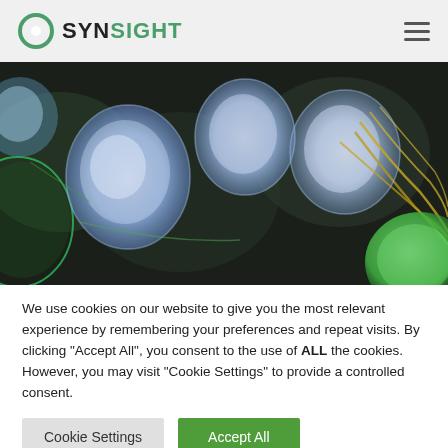SYNSIGHT
[Figure (photo): Fluorescence microscopy image showing cells with blue-stained nuclei, green cytoskeletal structures, and yellow filaments on a dark background]
We use cookies on our website to give you the most relevant experience by remembering your preferences and repeat visits. By clicking “Accept All”, you consent to the use of ALL the cookies. However, you may visit "Cookie Settings" to provide a controlled consent.